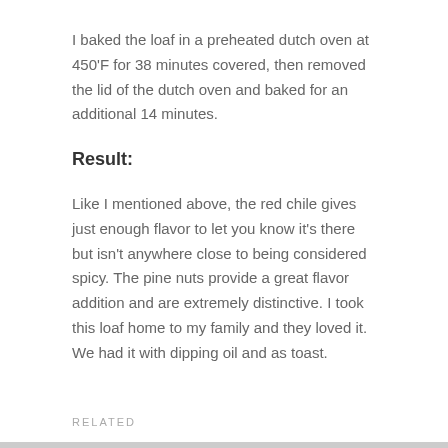I baked the loaf in a preheated dutch oven at 450'F for 38 minutes covered, then removed the lid of the dutch oven and baked for an additional 14 minutes.
Result:
Like I mentioned above, the red chile gives just enough flavor to let you know it's there but isn't anywhere close to being considered spicy. The pine nuts provide a great flavor addition and are extremely distinctive. I took this loaf home to my family and they loved it. We had it with dipping oil and as toast.
RELATED